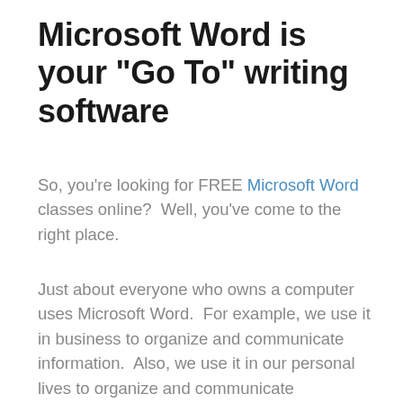Microsoft Word is your "Go To" writing software
So, you're looking for FREE Microsoft Word classes online?  Well, you've come to the right place.
Just about everyone who owns a computer uses Microsoft Word.  For example, we use it in business to organize and communicate information.  Also, we use it in our personal lives to organize and communicate information too.  So guess what, we use Microsoft for everything.